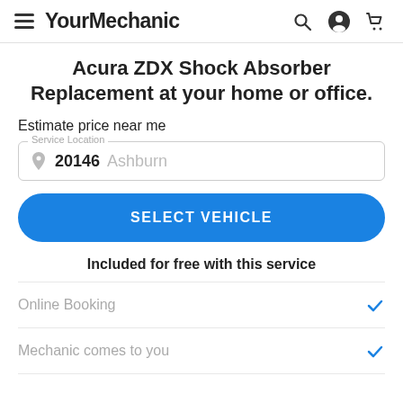YourMechanic
Acura ZDX Shock Absorber Replacement at your home or office.
Estimate price near me
Service Location: 20146 Ashburn
SELECT VEHICLE
Included for free with this service
Online Booking
Mechanic comes to you